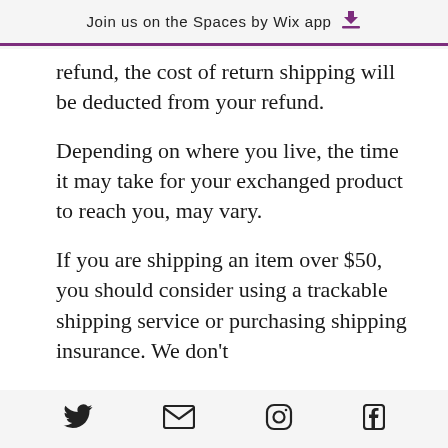Join us on the Spaces by Wix app ↓
refund, the cost of return shipping will be deducted from your refund.
Depending on where you live, the time it may take for your exchanged product to reach you, may vary.
If you are shipping an item over $50, you should consider using a trackable shipping service or purchasing shipping insurance. We don't
Twitter | Email | Instagram | Facebook